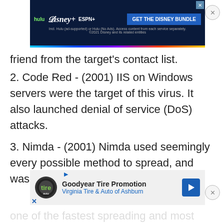[Figure (screenshot): Disney Bundle advertisement banner (Hulu, Disney+, ESPN+) with dark navy background and 'GET THE DISNEY BUNDLE' button]
friend from the target's contact list.
2. Code Red - (2001) IIS on Windows servers were the target of this virus. It also launched denial of service (DoS) attacks.
3. Nimda - (2001) Nimda used seemingly every possible method to spread, and was very effective at
[Figure (screenshot): Goodyear Tire Promotion advertisement - Virginia Tire & Auto of Ashburn]
one of the fastest spreading and most